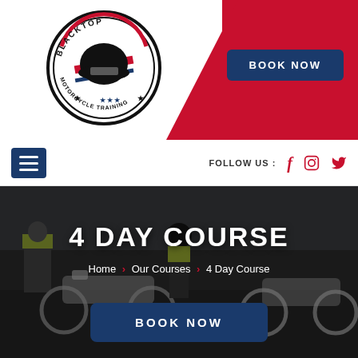[Figure (logo): Blacktop Motorcycle Training circular logo with helmet graphic and stars]
BOOK NOW
FOLLOW US :
4 DAY COURSE
Home > Our Courses > 4 Day Course
BOOK NOW